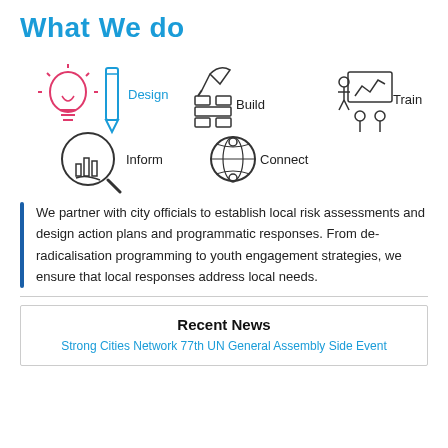What We do
[Figure (infographic): Five icons arranged in two rows: Design (lightbulb + pencil, pink/red), Build (bricklaying trowel and bricks), Train (presenter at board with audience), Inform (magnifying glass over chart), Connect (globe with people)]
We partner with city officials to establish local risk assessments and design action plans and programmatic responses. From de-radicalisation programming to youth engagement strategies, we ensure that local responses address local needs.
Recent News
Strong Cities Network 77th UN General Assembly Side Event